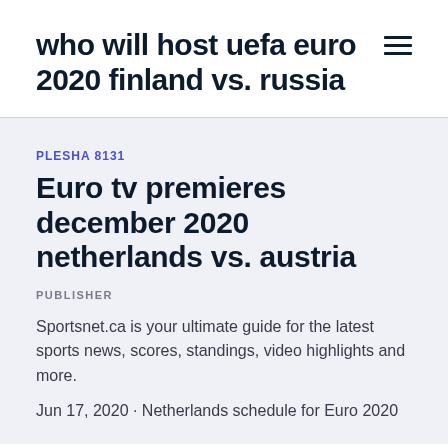who will host uefa euro 2020 finland vs. russia
PLESHA 8131
Euro tv premieres december 2020 netherlands vs. austria
PUBLISHER
Sportsnet.ca is your ultimate guide for the latest sports news, scores, standings, video highlights and more.
Jun 17, 2020 · Netherlands schedule for Euro 2020